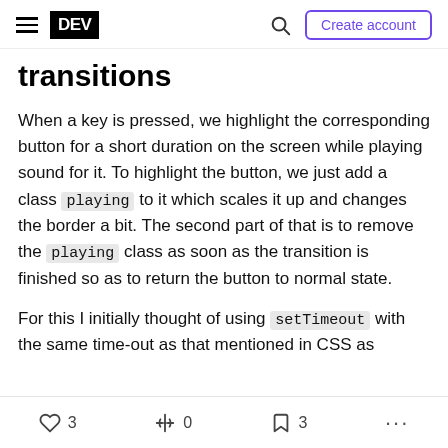DEV — Create account
transitions
When a key is pressed, we highlight the corresponding button for a short duration on the screen while playing sound for it. To highlight the button, we just add a class playing to it which scales it up and changes the border a bit. The second part of that is to remove the playing class as soon as the transition is finished so as to return the button to normal state.
For this I initially thought of using setTimeout with the same time-out as that mentioned in CSS as
3 likes · 0 reactions · 3 bookmarks